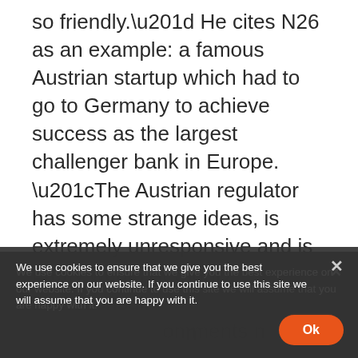so friendly.” He cites N26 as an example: a famous Austrian startup which had to go to Germany to achieve success as the largest challenger bank in Europe. “The Austrian regulator has some strange ideas, is extremely unresponsive and is pretty weak. At SignD we’re dealing with regulators across the globe, so the Austrian regulator is something we always knew was bad. It’s extremely hard to start a regulated Fintech business here in Austria.” It’s a theme which is picked up by Martin Schachinger, Co-owner and Managing Director of Finnoconsult. Although his comments ... …down in a hotel he acquired in south-central Hungary, and which he is at the time as an office. “The Austrian market is very small,” he
We use cookies to ensure that we give you the best experience on our website. If you continue to use this site we will assume that you are happy with it.